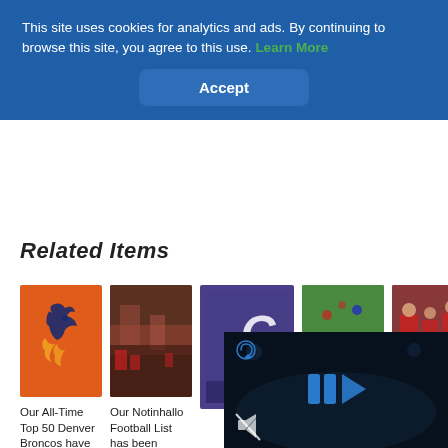This site uses cookies for analytics and ads. By continuing to browse this site, you agree to this use. Learn More
Accept
Related Items
[Figure (photo): Denver Broncos orange logo thumbnail]
[Figure (photo): Blurry crowd/sports action thumbnail]
[Figure (photo): Purple jersey with letter C thumbnail]
[Figure (photo): Green football field with yard lines thumbnail]
[Figure (photo): Crowd celebration photo thumbnail]
Our All-Time Top 50 Denver Broncos have
Our Notinhallof Football List has been revised
[Figure (screenshot): Dark video player overlay with blue play icon and mute indicator on dark stadium background]